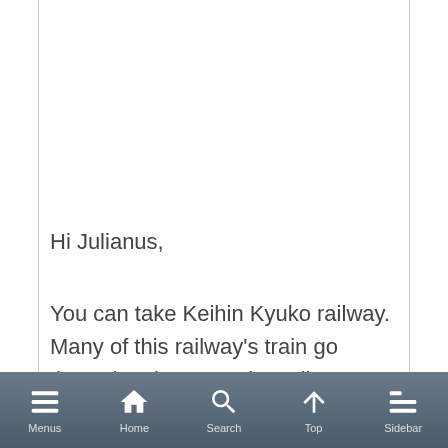Hi Julianus,
You can take Keihin Kyuko railway. Many of this railway's train go through subway Asakusa line. It takes you to Asakusa directly.
On the way back to Haneda, train is very very busy. As long as you travel by train, it's busy everywhere.
You may take limousine bus if you want to avoid
Menus   Home   Search   Top   Sidebar